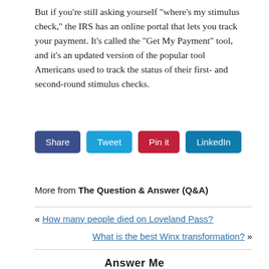But if you're still asking yourself "where's my stimulus check," the IRS has an online portal that lets you track your payment. It's called the "Get My Payment" tool, and it's an updated version of the popular tool Americans used to track the status of their first- and second-round stimulus checks.
[Figure (other): Social sharing buttons: Share (dark blue), Tweet (light blue), Pin it (red), LinkedIn (teal blue)]
More from The Question & Answer (Q&A)
« How many people died on Loveland Pass?
What is the best Winx transformation? »
Answer Me